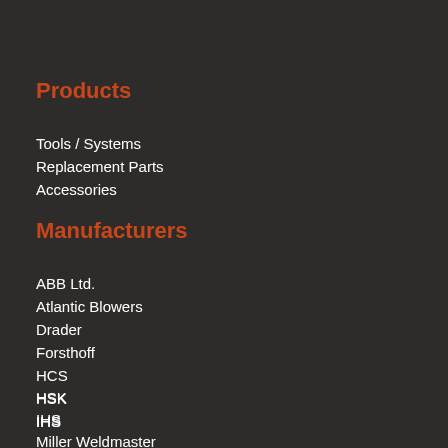Products
Tools / Systems
Replacement Parts
Accessories
Manufacturers
ABB Ltd.
Atlantic Blowers
Drader
Forsthoff
HCS
HSK
IHS
Miller Weldmaster
Munsch
Nexthermal